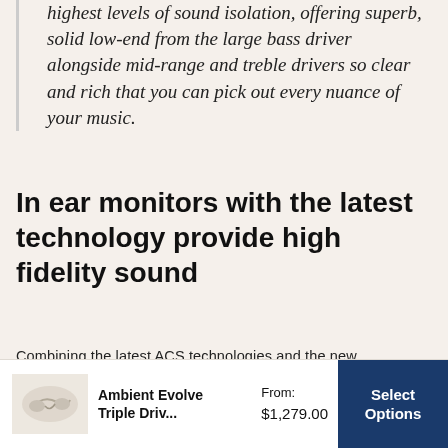highest levels of sound isolation, offering superb, solid low-end from the large bass driver alongside mid-range and treble drivers so clear and rich that you can pick out every nuance of your music.
In ear monitors with the latest technology provide high fidelity sound
Combining the latest ACS technologies and the new detachable cable system the Ambient Evolve IEM delivers a truly reference quality, high fidelity In-Ear Monitor. If you are looking for a well-balanced, detailed and accurate
[Figure (other): Product thumbnail image of Ambient Evolve Triple Driver in-ear monitors, shown in white/cream color]
Ambient Evolve Triple Driv...
From: $1,279.00
Select Options